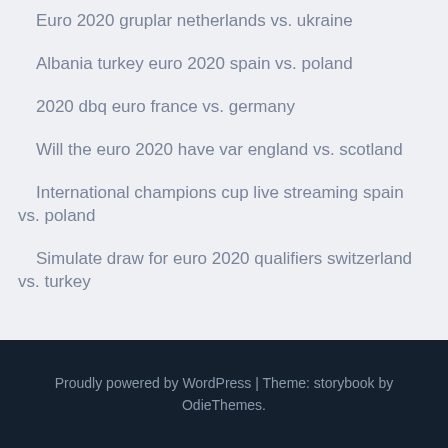Euro 2020 gruplar netherlands vs. ukraine
Albania turkey euro 2020 spain vs. poland
2020 dbq euro france vs. germany
Will the euro 2020 have var england vs. scotland
International champions cup live streaming spain vs. poland
Simulate draw for euro 2020 qualifiers switzerland vs. turkey
Proudly powered by WordPress | Theme: storybook by OdieThemes.